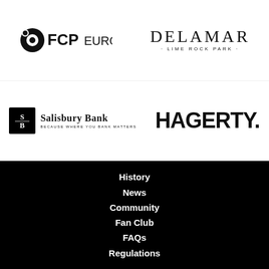[Figure (logo): FCP Euro logo with circular icon and bold text]
[Figure (logo): Delamar Lime Rock Park logo in serif font]
[Figure (logo): Salisbury Bank logo with SB monogram box and tagline BECAUSE WHERE YOU BANK MATTERS]
[Figure (logo): Hagerty logo in bold black sans-serif]
History
News
Community
Fan Club
FAQs
Regulations